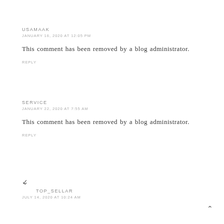USAMAAK
JANUARY 16, 2020 AT 12:05 PM
This comment has been removed by a blog administrator.
REPLY
SERVICE
JANUARY 22, 2020 AT 7:55 AM
This comment has been removed by a blog administrator.
REPLY
▼
TOP_SELLAR
JULY 14, 2020 AT 10:24 AM
▲